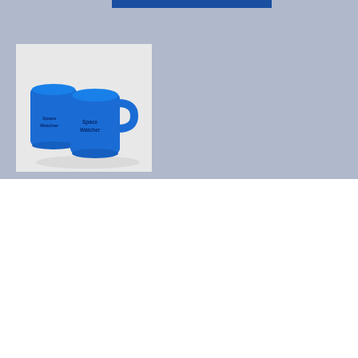[Figure (photo): Two blue ceramic mugs with 'Space Watcher' branding text on them, shown against a light background]
REFLECTIVE BACKPACK
[Figure (photo): A black reflective backpack with 'Space Watcher' branding text visible on the front, shown against a white background]